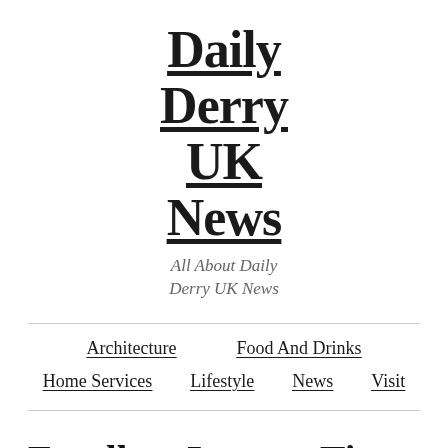Daily Derry UK News
All About Daily Derry UK News
Architecture | Food And Drinks | Home Services | Lifestyle | News | Visit
Excellent Lawyer Tips To Help